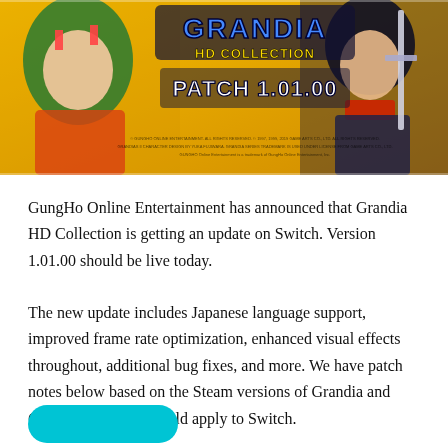[Figure (illustration): Grandia HD Collection Patch 1.01.00 banner image featuring two anime characters (a green-haired girl and a dark-haired boy with a sword) on a golden background with the Grandia HD Collection logo and text 'PATCH 1.01.00']
GungHo Online Entertainment has announced that Grandia HD Collection is getting an update on Switch. Version 1.01.00 should be live today.
The new update includes Japanese language support, improved frame rate optimization, enhanced visual effects throughout, additional bug fixes, and more. We have patch notes below based on the Steam versions of Grandia and Grandia II, which should apply to Switch.